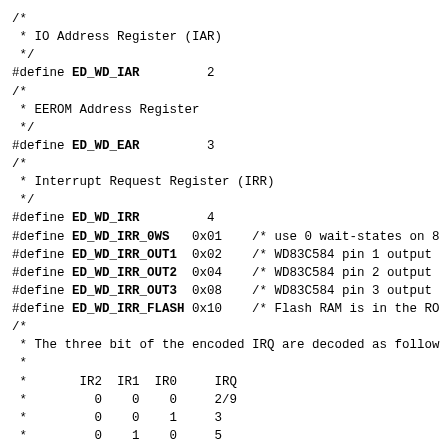/*
 * IO Address Register (IAR)
 */
#define ED_WD_IAR         2
/*
 * EEROM Address Register
 */
#define ED_WD_EAR         3
/*
 * Interrupt Request Register (IRR)
 */
#define ED_WD_IRR         4
#define ED_WD_IRR_0WS   0x01    /* use 0 wait-states on 8
#define ED_WD_IRR_OUT1  0x02    /* WD83C584 pin 1 output
#define ED_WD_IRR_OUT2  0x04    /* WD83C584 pin 2 output
#define ED_WD_IRR_OUT3  0x08    /* WD83C584 pin 3 output
#define ED_WD_IRR_FLASH 0x10    /* Flash RAM is in the RO
/*
 * The three bit of the encoded IRQ are decoded as follow
 *
 *       IR2  IR1  IR0     IRQ
 *         0    0    0     2/9
 *         0    0    1     3
 *         0    1    0     5
 *         0    1    1     7
 *         1    0    0     10